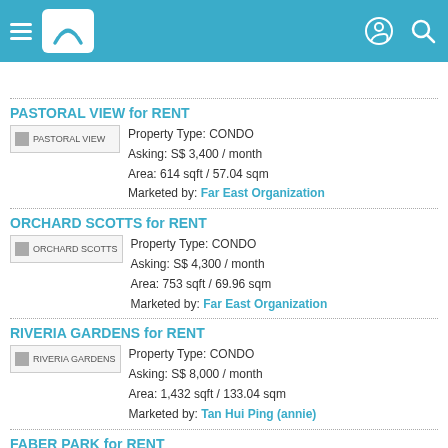Navigation header with menu, logo, profile and search icons
PASTORAL VIEW for RENT
Property Type: CONDO
Asking: S$ 3,400 / month
Area: 614 sqft / 57.04 sqm
Marketed by: Far East Organization
ORCHARD SCOTTS for RENT
Property Type: CONDO
Asking: S$ 4,300 / month
Area: 753 sqft / 69.96 sqm
Marketed by: Far East Organization
RIVERIA GARDENS for RENT
Property Type: CONDO
Asking: S$ 8,000 / month
Area: 1,432 sqft / 133.04 sqm
Marketed by: Tan Hui Ping (annie)
FABER PARK for RENT